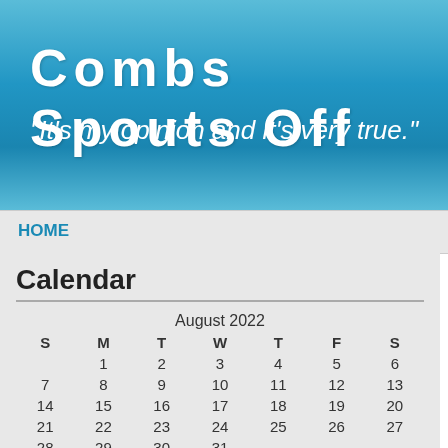Combs Spouts Off
"It's my opinion and it's very true."
HOME
Calendar
| S | M | T | W | T | F | S |
| --- | --- | --- | --- | --- | --- | --- |
|  | 1 | 2 | 3 | 4 | 5 | 6 |
| 7 | 8 | 9 | 10 | 11 | 12 | 13 |
| 14 | 15 | 16 | 17 | 18 | 19 | 20 |
| 21 | 22 | 23 | 24 | 25 | 26 | 27 |
| 28 | 29 | 30 | 31 |  |  |  |
« Jan
Recent Posts
Neil Peart, R.I.P.
Yappy Hew Near!
Champagne, or something like it
« Obama's agenda    Global coo...
Radicalism widespread in U.S. mosques
Posted by Richard on February 27, 200...
Tweet
An undercover investigation of American mosques and Islamic schools by the Center for Security Policy has released some disturbing — but not surprising to those who've been paying attention — preliminary findings. Among the first 100 mosques and schools the project examined, more than three-quarters are "hotbeds of anti-W...